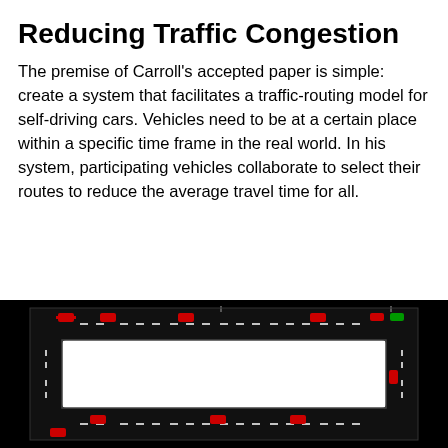Reducing Traffic Congestion
The premise of Carroll's accepted paper is simple: create a system that facilitates a traffic-routing model for self-driving cars. Vehicles need to be at a certain place within a specific time frame in the real world. In his system, participating vehicles collaborate to select their routes to reduce the average travel time for all.
[Figure (screenshot): A top-down simulation screenshot of a road network (roundabout or rectangular loop) on a black background, with red car icons and white dashed lane markings visible on the roads.]